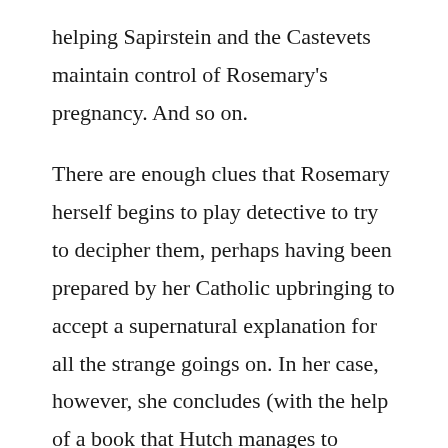helping Sapirstein and the Castevets maintain control of Rosemary's pregnancy. And so on.
There are enough clues that Rosemary herself begins to play detective to try to decipher them, perhaps having been prepared by her Catholic upbringing to accept a supernatural explanation for all the strange goings on. In her case, however, she concludes (with the help of a book that Hutch manages to transmit to her before his death) that a coven of witches is plotting against her, but that their plot involves a plan to take her baby after it is born and then to use it in some sort of unspeakable sacrifice. Her further research seems to confirm this theory and to provide explanations for other events as well—such as the blinding of Baumgart. When Rosemary confirms that Guy acquired a tie belonging to